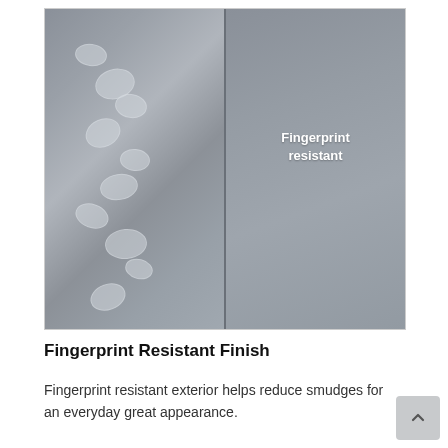[Figure (photo): Side-by-side comparison photo showing a stainless steel surface with visible fingerprint smudges on the left half, and a clean fingerprint-resistant surface on the right half labeled 'Fingerprint resistant']
Fingerprint Resistant Finish
Fingerprint resistant exterior helps reduce smudges for an everyday great appearance.